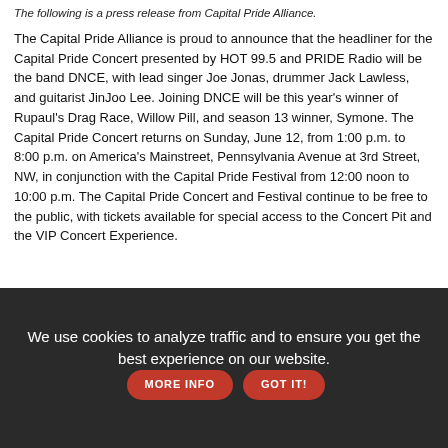The following is a press release from Capital Pride Alliance.
The Capital Pride Alliance is proud to announce that the headliner for the Capital Pride Concert presented by HOT 99.5 and PRIDE Radio will be the band DNCE, with lead singer Joe Jonas, drummer Jack Lawless, and guitarist JinJoo Lee. Joining DNCE will be this year's winner of Rupaul's Drag Race, Willow Pill, and season 13 winner, Symone. The Capital Pride Concert returns on Sunday, June 12, from 1:00 p.m. to 8:00 p.m. on America's Mainstreet, Pennsylvania Avenue at 3rd Street, NW, in conjunction with the Capital Pride Festival from 12:00 noon to 10:00 p.m. The Capital Pride Concert and Festival continue to be free to the public, with tickets available for special access to the Concert Pit and the VIP Concert Experience.
We use cookies to analyze traffic and to ensure you get the best experience on our website. MORE INFO GOT IT!